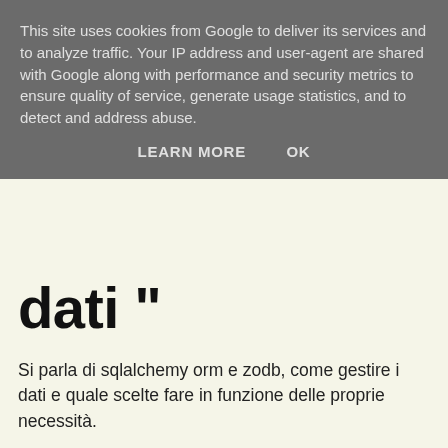This site uses cookies from Google to deliver its services and to analyze traffic. Your IP address and user-agent are shared with Google along with performance and security metrics to ensure quality of service, generate usage statistics, and to detect and address abuse.
LEARN MORE   OK
dati "
Si parla di sqlalchemy orm e zodb, come gestire i dati e quale scelte fare in funzione delle proprie necessità.
Couldn't load plugin.